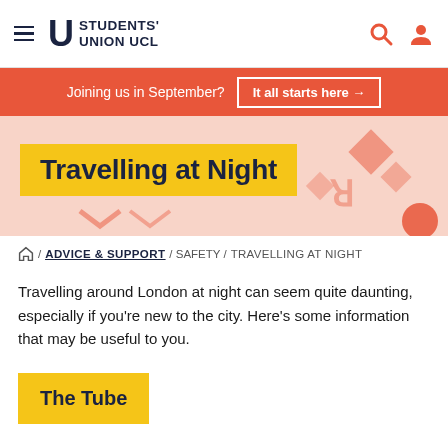Students' Union UCL — site navigation header
Joining us in September? It all starts here →
Travelling at Night
🏠 / ADVICE & SUPPORT / SAFETY / TRAVELLING AT NIGHT
Travelling around London at night can seem quite daunting, especially if you're new to the city. Here's some information that may be useful to you.
The Tube